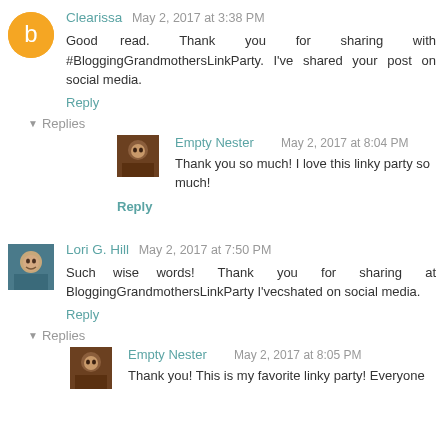Clearissa May 2, 2017 at 3:38 PM
Good read. Thank you for sharing with #BloggingGrandmothersLinkParty. I've shared your post on social media.
Reply
Replies
Empty Nester May 2, 2017 at 8:04 PM
Thank you so much! I love this linky party so much!
Reply
Lori G. Hill May 2, 2017 at 7:50 PM
Such wise words! Thank you for sharing at BloggingGrandmothersLinkParty I'vecshated on social media.
Reply
Replies
Empty Nester May 2, 2017 at 8:05 PM
Thank you! This is my favorite linky party! Everyone